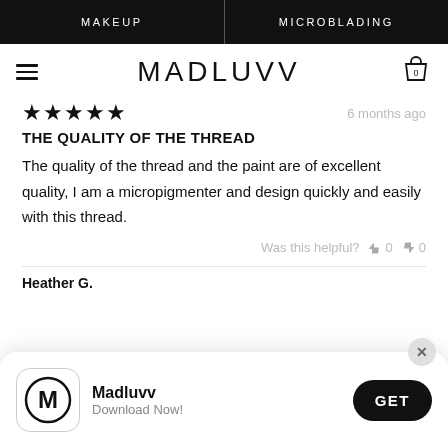MAKEUP | MICROBLADING
MADLUVV
★★★★★  6 months ago
THE QUALITY OF THE THREAD
The quality of the thread and the paint are of excellent quality, I am a micropigmenter and design quickly and easily with this thread.
Was this helpful? 👍 0 👎 0
Heather G.
[Figure (screenshot): App download banner for Madluvv app with logo, Download Now! text, and GET button]
★★★★★  6 months ago